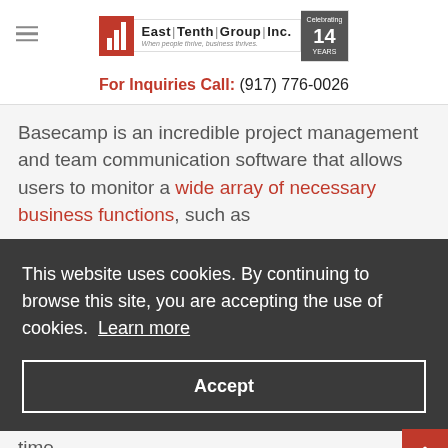[Figure (logo): East Tenth Group Inc. logo with hamburger menu icon and bar chart icon, tagline 'When people thrive, business thrives.' and '14 years' badge]
For Inquiries Call: (917) 776-0026
Basecamp is an incredible project management and team communication software that allows users to monitor a wide array of necessary business functions, such as
This website uses cookies. By continuing to browse this site, you are accepting the use of cookies. Learn more
Accept
time.